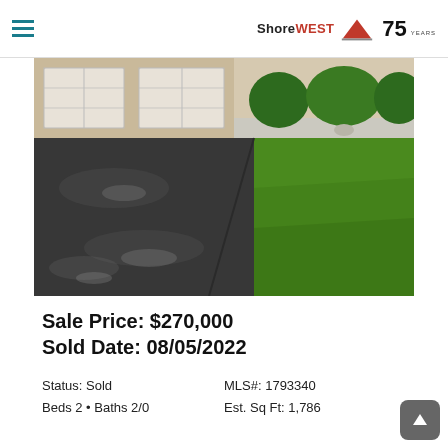ShoreWEST — 75 Years logo, hamburger menu
[Figure (photo): Exterior photo of a residential property showing a wide asphalt driveway leading to a two-car garage with brick facade, and a green lawn with trimmed shrubs on the right side.]
Sale Price: $270,000
Sold Date: 08/05/2022
Status: Sold
MLS#: 1793340
Beds 2 • Baths 2/0
Est. Sq Ft: 1,786